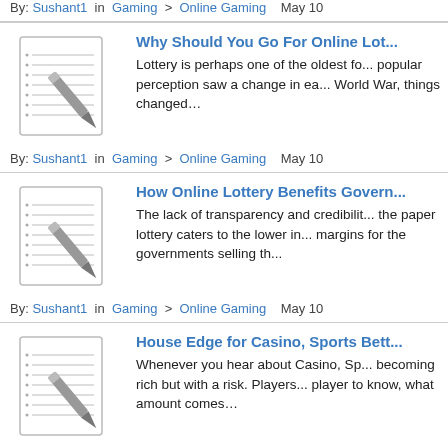By: Sushant1 in Gaming > Online Gaming May 10
[Figure (illustration): Notepad with pen icon]
Why Should You Go For Online Lot...
Lottery is perhaps one of the oldest fo... popular perception saw a change in ea... World War, things changed…
By: Sushant1 in Gaming > Online Gaming May 10
[Figure (illustration): Notepad with pen icon]
How Online Lottery Benefits Govern...
The lack of transparency and credibilit... the paper lottery caters to the lower in... margins for the governments selling th...
By: Sushant1 in Gaming > Online Gaming May 10
[Figure (illustration): Notepad with pen icon]
House Edge for Casino, Sports Bett...
Whenever you hear about Casino, Sp... becoming rich but with a risk. Players... player to know, what amount comes…
By: Sushant1 in Gaming > Online Gaming May 10